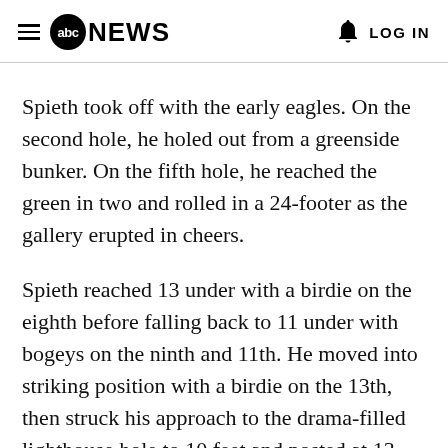abc NEWS  LOG IN
Spieth took off with the early eagles. On the second hole, he holed out from a greenside bunker. On the fifth hole, he reached the green in two and rolled in a 24-footer as the gallery erupted in cheers.
Spieth reached 13 under with a birdie on the eighth before falling back to 11 under with bogeys on the ninth and 11th. He moved into striking position with a birdie on the 13th, then struck his approach to the drama-filled lighthouse hole to 10 feet and posted at 13